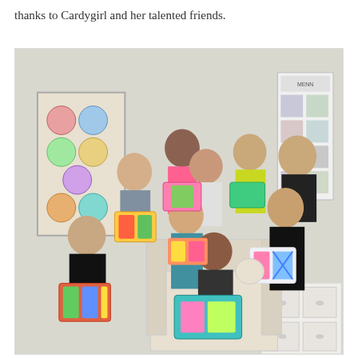thanks to Cardygirl and her talented friends.
[Figure (photo): Group photo of approximately 9 women holding colorful quilted/fabric pouches and bags. They are posed in a room with a decorative quilt hanging on the left wall and a poster on the right wall. Some women are seated and some are standing. They are smiling and displaying their handmade fabric items.]